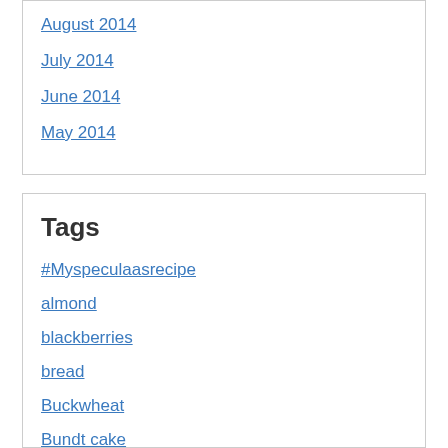August 2014
July 2014
June 2014
May 2014
Tags
#Myspeculaasrecipe
almond
blackberries
bread
Buckwheat
Bundt cake
cake
carrot cake